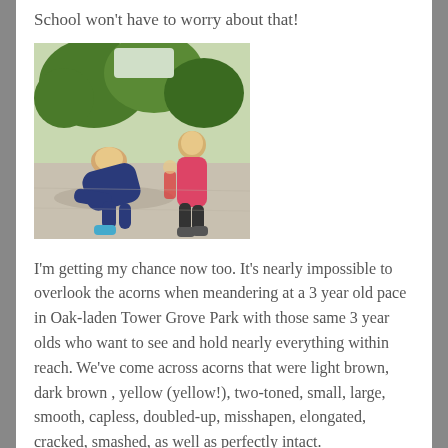School won't have to worry about that!
[Figure (photo): Two young children outdoors in a park. One child is crouching down on a paved path examining something on the ground, wearing a dark blue outfit. Another child stands nearby wearing a pink/red top. Trees are visible in the background.]
I'm getting my chance now too. It's nearly impossible to overlook the acorns when meandering at a 3 year old pace in Oak-laden Tower Grove Park with those same 3 year olds who want to see and hold nearly everything within reach. We've come across acorns that were light brown, dark brown , yellow (yellow!), two-toned, small, large, smooth, capless, doubled-up, misshapen, elongated, cracked, smashed, as well as perfectly intact.